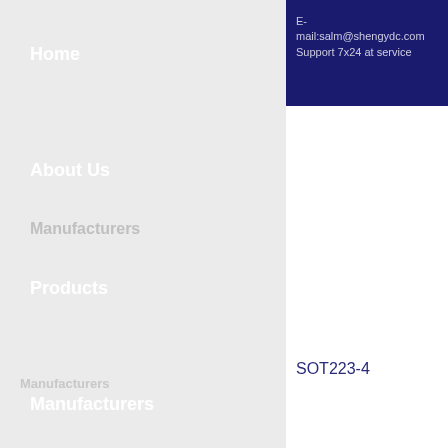Home
About Us
Products
Manufacturers
Request Quote
Contact Us
E-mail:salm@shengydc.com
Support 7x24 at service
SOT223-4
Manufacturers